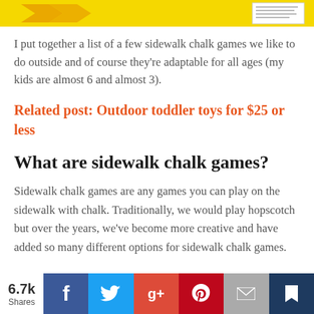[Figure (illustration): Top banner image with yellow background showing chalk arrow shapes and a document preview thumbnail on the right]
I put together a list of a few sidewalk chalk games we like to do outside and of course they're adaptable for all ages (my kids are almost 6 and almost 3).
Related post: Outdoor toddler toys for $25 or less
What are sidewalk chalk games?
Sidewalk chalk games are any games you can play on the sidewalk with chalk. Traditionally, we would play hopscotch but over the years, we've become more creative and have added so many different options for sidewalk chalk games.
6.7k Shares | Facebook | Twitter | Google+ | Pinterest | Email | Bookmark